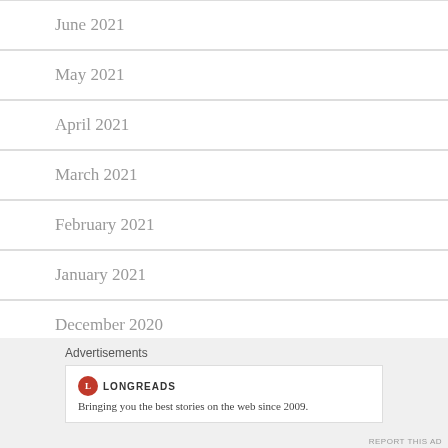June 2021
May 2021
April 2021
March 2021
February 2021
January 2021
December 2020
November 2020
October 2020
Advertisements
[Figure (other): Longreads advertisement: logo with red circle L and text 'LONGREADS', tagline 'Bringing you the best stories on the web since 2009.']